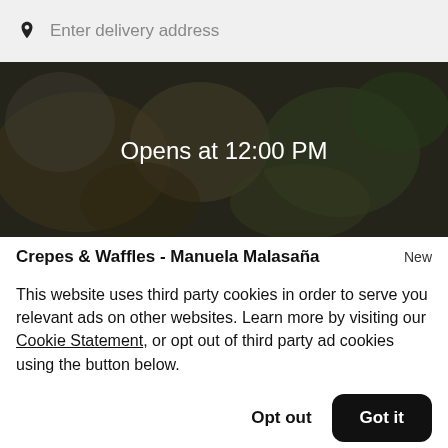Enter delivery address
[Figure (photo): Dark food photo background with text 'Opens at 12:00 PM' overlaid in white]
Crepes & Waffles - Manuela Malasaña   New
This website uses third party cookies in order to serve you relevant ads on other websites. Learn more by visiting our Cookie Statement, or opt out of third party ad cookies using the button below.
Opt out   Got it